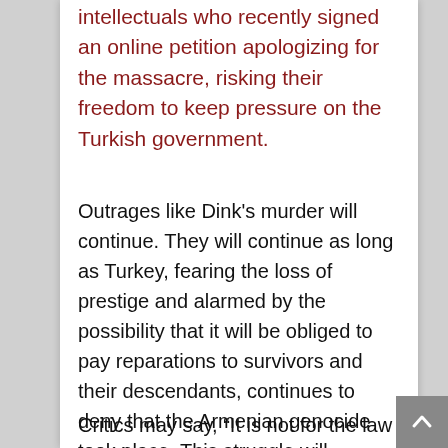intellectuals who recently signed an online petition apologizing for the massacre, risking their freedom to keep pressure on the Turkish government.
Outrages like Dink's murder will continue. They will continue as long as Turkey, fearing the loss of prestige and alarmed by the possibility that it will be obliged to pay reparations to survivors and their descendants, continues to deny that the Armenian genocide took place. This struggle will continue as long as there are no laws in place penalizing genocide denial — and these laws are needed not only in Turkey, but around the world.
Critics may say, “It is not for the law to write